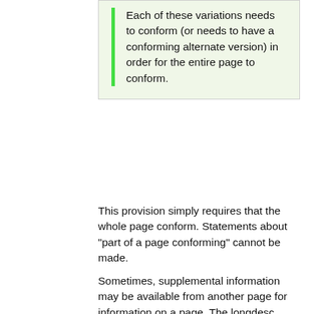Each of these variations needs to conform (or needs to have a conforming alternate version) in order for the entire page to conform.
This provision simply requires that the whole page conform. Statements about "part of a page conforming" cannot be made.
Sometimes, supplemental information may be available from another page for information on a page. The longdesc attribute in HTML is an example. With longdesc, a long description of a graphic might be on a separate page that the user can jump to from the page with the graphic. This makes it clear that such content is considered part of the Web page, so that requirement #2 is satisfied for the combined set of Web pages considered as a single Web page. Alternatives can also be provided on the same page. For example creating an